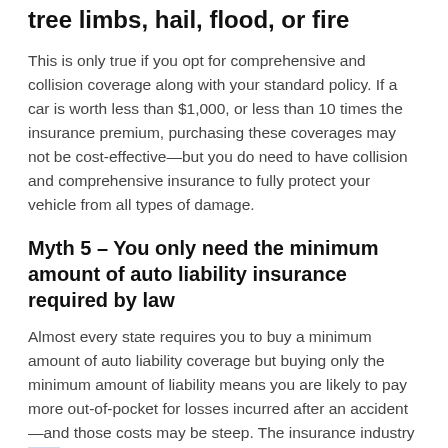tree limbs, hail, flood, or fire
This is only true if you opt for comprehensive and collision coverage along with your standard policy. If a car is worth less than $1,000, or less than 10 times the insurance premium, purchasing these coverages may not be cost-effective—but you do need to have collision and comprehensive insurance to fully protect your vehicle from all types of damage.
Myth 5 – You only need the minimum amount of auto liability insurance required by law
Almost every state requires you to buy a minimum amount of auto liability coverage but buying only the minimum amount of liability means you are likely to pay more out-of-pocket for losses incurred after an accident—and those costs may be steep. The insurance industry and consumer groups generally recommend a minimum of $100,000 of bodily injury protection per person and $300,000 per accident. If you have substantial personal financial assets to protect in the event of a lawsuit, you